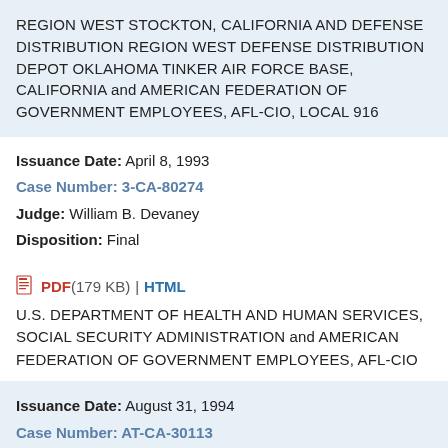REGION WEST STOCKTON, CALIFORNIA AND DEFENSE DISTRIBUTION REGION WEST DEFENSE DISTRIBUTION DEPOT OKLAHOMA TINKER AIR FORCE BASE, CALIFORNIA and AMERICAN FEDERATION OF GOVERNMENT EMPLOYEES, AFL-CIO, LOCAL 916
Issuance Date: April 8, 1993
Case Number: 3-CA-80274
Judge: William B. Devaney
Disposition: Final
PDF (179 KB) | HTML
U.S. DEPARTMENT OF HEALTH AND HUMAN SERVICES, SOCIAL SECURITY ADMINISTRATION and AMERICAN FEDERATION OF GOVERNMENT EMPLOYEES, AFL-CIO
Issuance Date: August 31, 1994
Case Number: AT-CA-30113
Judge: William B. Devaney